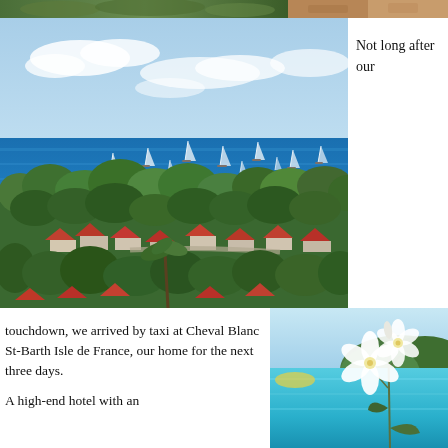[Figure (photo): Top strip showing tropical foliage/landscape scene, cropped]
[Figure (photo): Aerial view of St. Barths harbor with sailboats on vivid blue water, lush green tropical trees, and red-roofed buildings below]
Not long after our
touchdown, we arrived by taxi at Cheval Blanc St-Barth Isle de France, our home for the next three days.

A high-end hotel with an
[Figure (photo): Close-up of white orchid flowers with turquoise Caribbean sea and green hillside in background]